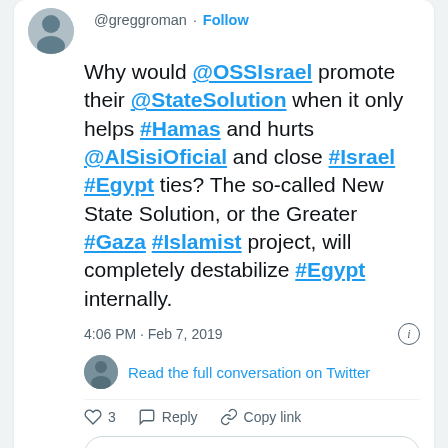[Figure (screenshot): Twitter/X screenshot showing a tweet by @greggroman with text about @OSSIsrael, @StateSolution, #Hamas, @AlSisiOficial, #Israel, #Egypt, #Gaza, #Islamist, dated 4:06 PM Feb 7, 2019, with like/reply/copy link actions and a 'Read 1 reply' button. Below is a second tweet card header for 'The Big Pharaoh'.]